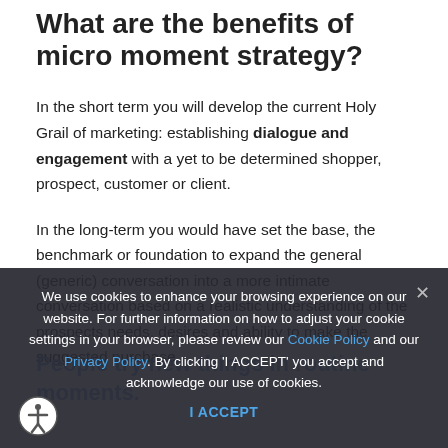What are the benefits of micro moment strategy?
In the short term you will develop the current Holy Grail of marketing: establishing dialogue and engagement with a yet to be determined shopper, prospect, customer or client.
In the long-term you would have set the base, the benchmark or foundation to expand the general (generic) conversation into a more intimate conversation based on a realistic understanding of the prospects needs, desires and ability to make the suggested purchase.
People try new things in routine moments.
We use cookies to enhance your browsing experience on our website. For further information on how to adjust your cookie settings in your browser, please review our Cookie Policy and our Privacy Policy. By clicking 'I ACCEPT' you accept and acknowledge our use of cookies.
I ACCEPT